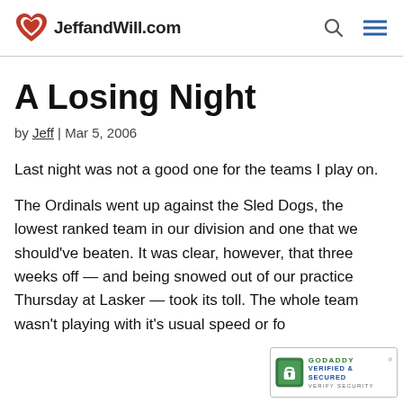JeffandWill.com
A Losing Night
by Jeff | Mar 5, 2006
Last night was not a good one for the teams I play on.
The Ordinals went up against the Sled Dogs, the lowest ranked team in our division and one that we should've beaten. It was clear, however, that three weeks off — and being snowed out of our practice Thursday at Lasker — took its toll. The whole team wasn't playing with it's usual speed or fo